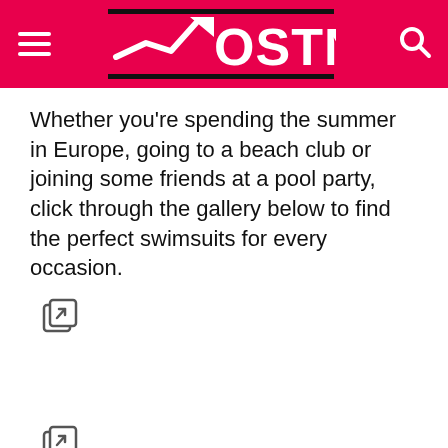OSTN
Whether you’re spending the summer in Europe, going to a beach club or joining some friends at a pool party, click through the gallery below to find the perfect swimsuits for every occasion.
[Figure (illustration): Share/external link icon]
[Figure (illustration): Share/external link icon]